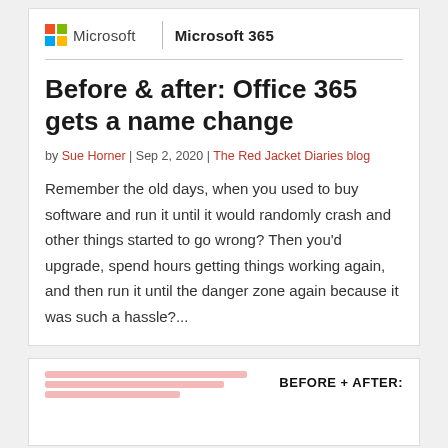[Figure (logo): Microsoft logo with colorful four-square grid icon and 'Microsoft' text, a vertical divider, then 'Microsoft 365' in bold]
Before & after: Office 365 gets a name change
by Sue Horner | Sep 2, 2020 | The Red Jacket Diaries blog
Remember the old days, when you used to buy software and run it until it would randomly crash and other things started to go wrong? Then you'd upgrade, spend hours getting things working again, and then run it until the danger zone again because it was such a hassle?...
[Figure (screenshot): Partial card showing blurred red text lines on the left and 'BEFORE + AFTER:' bold text on the right]